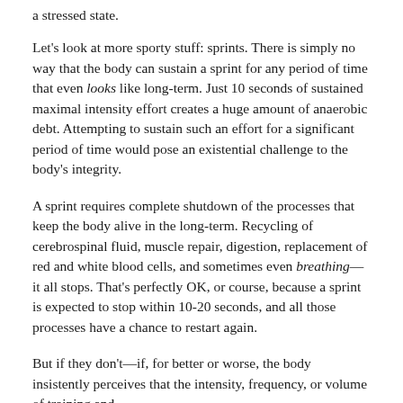…with that natural pattern to notify, then you're doing that a stressed state.
Let's look at more sporty stuff: sprints. There is simply no way that the body can sustain a sprint for any period of time that even looks like long-term. Just 10 seconds of sustained maximal intensity effort creates a huge amount of anaerobic debt. Attempting to sustain such an effort for a significant period of time would pose an existential challenge to the body's integrity.
A sprint requires complete shutdown of the processes that keep the body alive in the long-term. Recycling of cerebrospinal fluid, muscle repair, digestion, replacement of red and white blood cells, and sometimes even breathing—it all stops. That's perfectly OK, or course, because a sprint is expected to stop within 10-20 seconds, and all those processes have a chance to restart again.
But if they don't—if, for better or worse, the body insistently perceives that the intensity, frequency, or volume of training and …